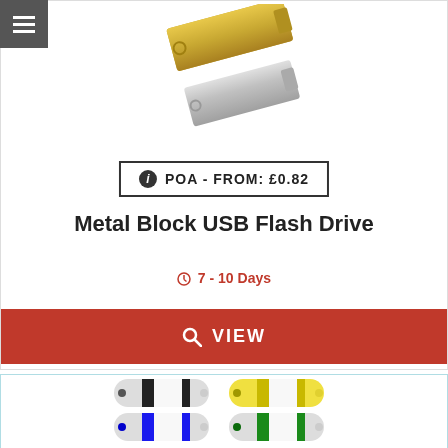[Figure (photo): Two metal block USB flash drives stacked — gold on top and silver below, rectangular with key ring attachment]
POA - FROM: £0.82
Metal Block USB Flash Drive
7 - 10 Days
VIEW
[Figure (photo): Four colored USB flash drives in a 2x2 grid: black/white, yellow/white (top row), blue/white, green/white (bottom row)]